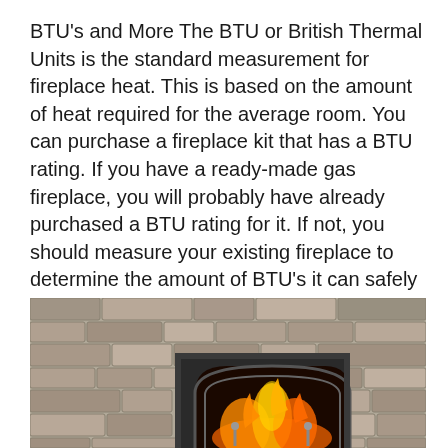BTU's and More The BTU or British Thermal Units is the standard measurement for fireplace heat. This is based on the amount of heat required for the average room. You can purchase a fireplace kit that has a BTU rating. If you have a ready-made gas fireplace, you will probably have already purchased a BTU rating for it. If not, you should measure your existing fireplace to determine the amount of BTU's it can safely have.
[Figure (photo): A stone fireplace with a metal arched insert showing flames inside, set against a gray stone surround wall.]